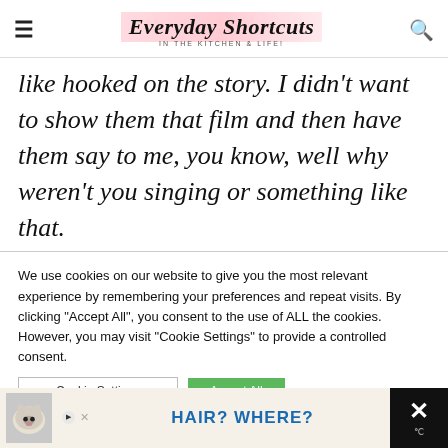Everyday Shortcuts — IN THE KITCHEN & LIFE!
like hooked on the story. I didn't want to show them that film and then have them say to me, you know, well why weren't you singing or something like that.
We use cookies on our website to give you the most relevant experience by remembering your preferences and repeat visits. By clicking "Accept All", you consent to the use of ALL the cookies. However, you may visit "Cookie Settings" to provide a controlled consent.
[Figure (screenshot): Advertisement banner at bottom with cat image and text HAIR? WHERE?]